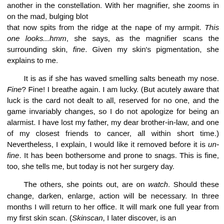another in the constellation. With her magnifier, she zooms in on the mad, bulging blot that now spits from the ridge at the nape of my armpit. This one looks...hmm, she says, as the magnifier scans the surrounding skin, fine. Given my skin's pigmentation, she explains to me.

It is as if she has waved smelling salts beneath my nose. Fine? Fine! I breathe again. I am lucky. (But acutely aware that luck is the card not dealt to all, reserved for no one, and the game invariably changes, so I do not apologize for being an alarmist. I have lost my father, my dear brother-in-law, and one of my closest friends to cancer, all within short time.) Nevertheless, I explain, I would like it removed before it is un-fine. It has been bothersome and prone to snags. This is fine, too, she tells me, but today is not her surgery day.

The others, she points out, are on watch. Should these change, darken, enlarge, action will be necessary. In three months I will return to her office. It will mark one full year from my first skin scan. (Skinscan, I later discover, is an